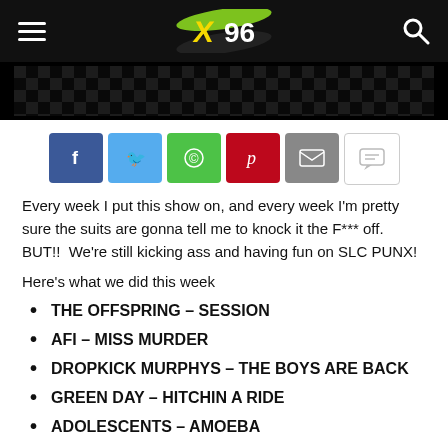X96 radio website header
[Figure (screenshot): Checkered flag banner image on black background]
[Figure (infographic): Social share buttons: Facebook, Twitter, WhatsApp, Pinterest, Email, Comment]
Every week I put this show on, and every week I'm pretty sure the suits are gonna tell me to knock it the F*** off.  BUT!!  We're still kicking ass and having fun on SLC PUNX!
Here's what we did this week
THE OFFSPRING – SESSION
AFI – MISS MURDER
DROPKICK MURPHYS – THE BOYS ARE BACK
GREEN DAY – HITCHIN A RIDE
ADOLESCENTS – AMOEBA
SOCIAL D – BALL AND CHAIN